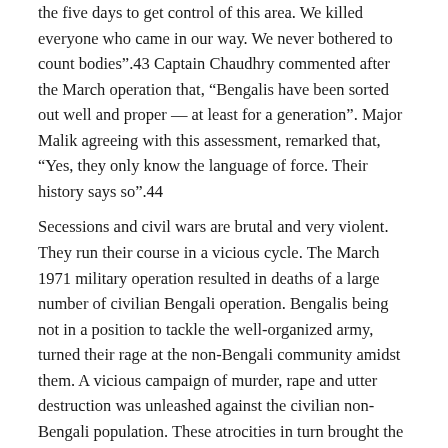the five days to get control of this area. We killed everyone who came in our way. We never bothered to count bodies".43 Captain Chaudhry commented after the March operation that, “Bengalis have been sorted out well and proper — at least for a generation". Major Malik agreeing with this assessment, remarked that, “Yes, they only know the language of force. Their history says so".44 Secessions and civil wars are brutal and very violent. They run their course in a vicious cycle. The March 1971 military operation resulted in deaths of a large number of civilian Bengali operation. Bengalis being not in a position to tackle the well-organized army, turned their rage at the non-Bengali community amidst them. A vicious campaign of murder, rape and utter destruction was unleashed against the civilian non-Bengali population. These atrocities in turn brought the ire of the army, who simply went out of control in extracting a heavy price from the Bengalis for their rebellion. This orgy of bloodshed and outrageous atrocities against non-combatants is the most shameful and painful part of the collective history of